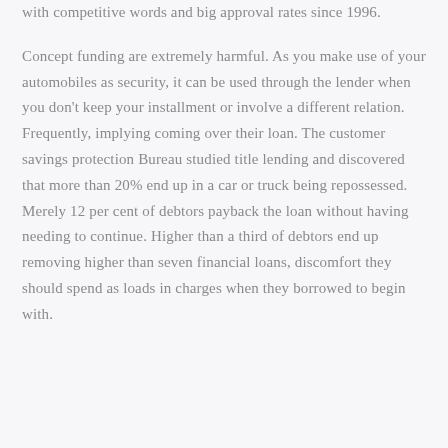with competitive words and big approval rates since 1996.

Concept funding are extremely harmful. As you make use of your automobiles as security, it can be used through the lender when you don't keep your installment or involve a different relation. Frequently, implying coming over their loan. The customer savings protection Bureau studied title lending and discovered that more than 20% end up in a car or truck being repossessed. Merely 12 per cent of debtors payback the loan without having needing to continue. Higher than a third of debtors end up removing higher than seven financial loans, discomfort they should spend as loads in charges when they borrowed to begin with.